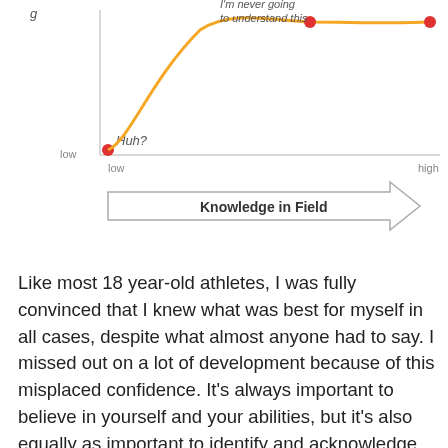[Figure (continuous-plot): Bottom portion of a Dunning-Kruger style curve chart. Y-axis label partially visible ('g'), x-axis labeled 'Knowledge in Field' with arrow from low to high. A yellow curve rises from a red dot labeled 'Huh?' at bottom-left (low,low), with annotation 'I'm never going to understand this' at top. Two red dots visible on the yellow curve at higher positions. The x-axis shows 'low' and 'high' labels.]
Like most 18 year-old athletes, I was fully convinced that I knew what was best for myself in all cases, despite what almost anyone had to say. I missed out on a lot of development because of this misplaced confidence. It's always important to believe in yourself and your abilities, but it's also equally as important to identify and acknowledge your weaknesses, and be willing to accept that someone else might know better than you. Healthy skepticism is always important, but don't shut out everyone just because you think you